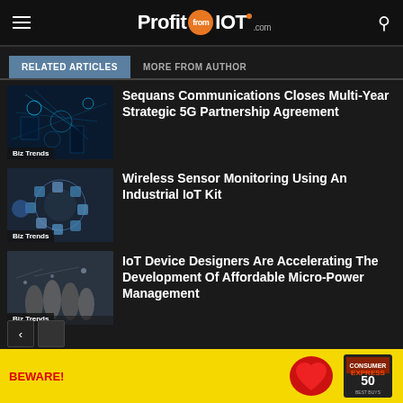ProfitfromIOT.com
RELATED ARTICLES | MORE FROM AUTHOR
[Figure (photo): Technology/IoT digital network concept image with blue circuit lines]
Biz Trends
Sequans Communications Closes Multi-Year Strategic 5G Partnership Agreement
[Figure (photo): Healthcare IoT - doctor with digital icons and stethoscope]
Biz Trends
Wireless Sensor Monitoring Using An Industrial IoT Kit
[Figure (photo): Group of people silhouettes in front of digital network]
Biz Trends
IoT Device Designers Are Accelerating The Development Of Affordable Micro-Power Management
[Figure (other): Advertisement banner: BEWARE! text in red on yellow background with heart image and Express newspaper logo]